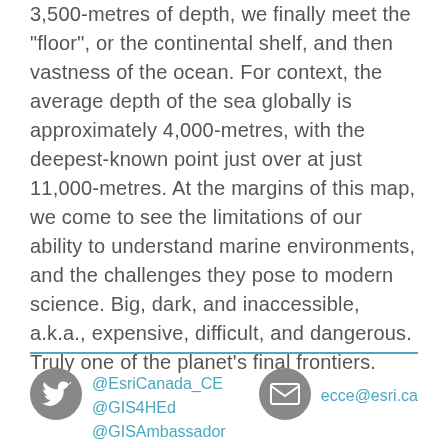3,500-metres of depth, we finally meet the "floor", or the continental shelf, and then vastness of the ocean. For context, the average depth of the sea globally is approximately 4,000-metres, with the deepest-known point just over at just 11,000-metres. At the margins of this map, we come to see the limitations of our ability to understand marine environments, and the challenges they pose to modern science. Big, dark, and inaccessible, a.k.a., expensive, difficult, and dangerous. Truly one of the planet's final frontiers.
@EsriCanada_CE @GIS4HEd @GISAmbassador | ecce@esri.ca